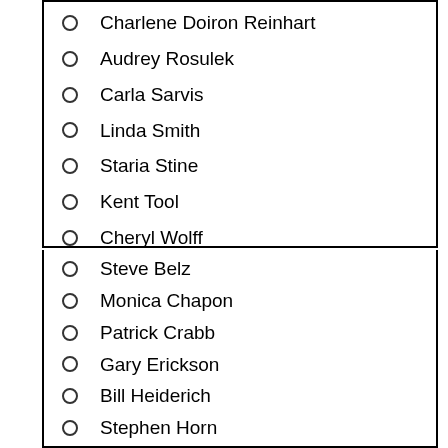Charlene Doiron Reinhart
Audrey Rosulek
Carla Sarvis
Linda Smith
Staria Stine
Kent Tool
Cheryl Wolff
Steve Belz
Monica Chapon
Patrick Crabb
Gary Erickson
Bill Heiderich
Stephen Horn
Yumi Kiyose
Luz Mack-Durini